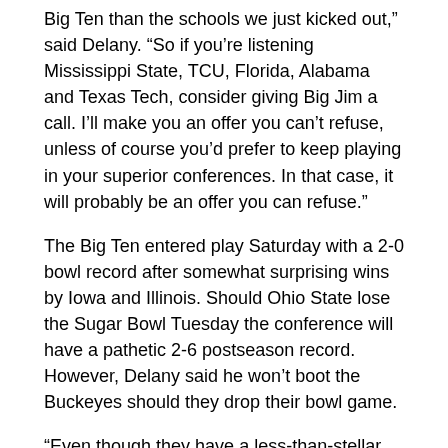Big Ten than the schools we just kicked out,” said Delany. “So if you’re listening Mississippi State, TCU, Florida, Alabama and Texas Tech, consider giving Big Jim a call. I’ll make you an offer you can’t refuse, unless of course you’d prefer to keep playing in your superior conferences. In that case, it will probably be an offer you can refuse.”
The Big Ten entered play Saturday with a 2-0 bowl record after somewhat surprising wins by Iowa and Illinois. Should Ohio State lose the Sugar Bowl Tuesday the conference will have a pathetic 2-6 postseason record. However, Delany said he won’t boot the Buckeyes should they drop their bowl game.
“Even though they have a less-than-stellar academic reputation and always seem to be breaking the rules,  Ohio State has a long tradition of fielding football teams that are